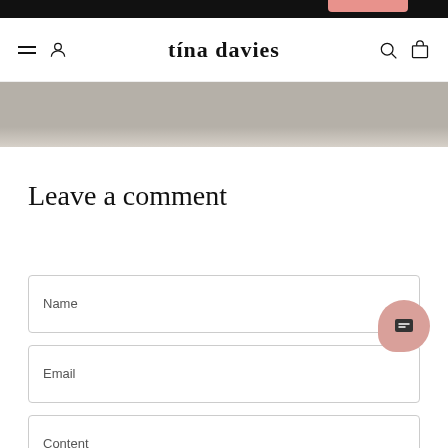tina davies
[Figure (screenshot): Hero image strip showing a partial photo in muted gray-beige tones]
Leave a comment
Name
Email
Content